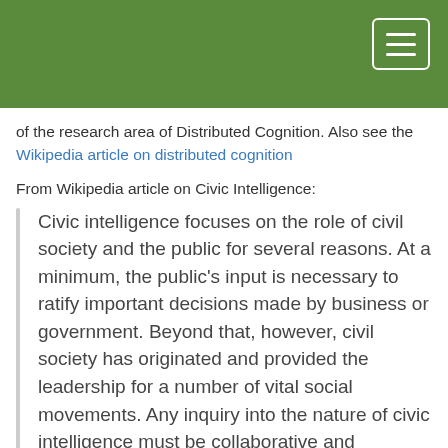of the research area of Distributed Cognition. Also see the Wikipedia article on distributed cognition
From Wikipedia article on Civic Intelligence:
Civic intelligence focuses on the role of civil society and the public for several reasons. At a minimum, the public's input is necessary to ratify important decisions made by business or government. Beyond that, however, civil society has originated and provided the leadership for a number of vital social movements. Any inquiry into the nature of civic intelligence must be collaborative and participatory. Civic intelligence is inherently multi-disciplinary and open-